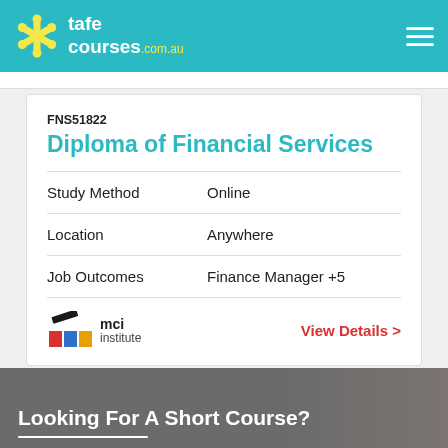tafecourses.com.au
FNS51822
Diploma of Financial Services
| Field | Value |
| --- | --- |
| Study Method | Online |
| Location | Anywhere |
| Job Outcomes | Finance Manager +5 |
[Figure (logo): MCI Institute logo with coloured square blocks and diagonal bar]
View Details >
Looking For A Short Course?